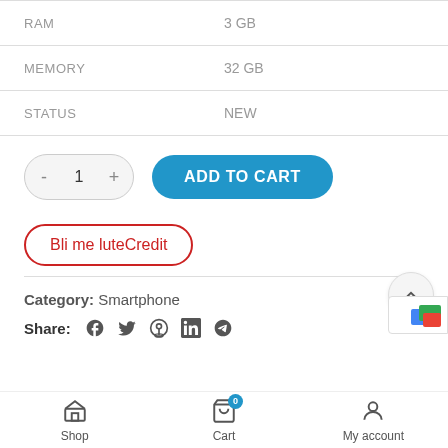| RAM | 3 GB |
| MEMORY | 32 GB |
| STATUS | NEW |
- 1 + ADD TO CART
Bli me luteCredit
Category: Smartphone
Share: f 🐦 ⊙ in ✈
Shop | Cart 0 | My account